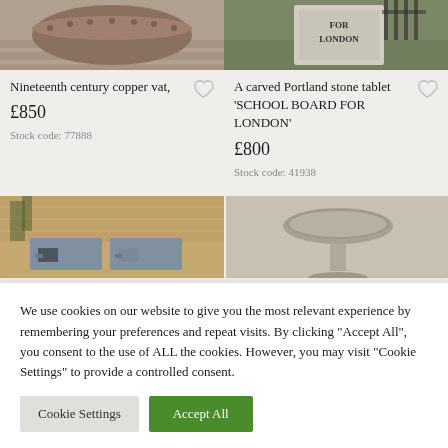[Figure (photo): Nineteenth century copper vat product photo - top portion of a metal vessel on wooden surface]
[Figure (photo): Carved Portland stone tablet with text FOR LONDON visible, garden setting]
Nineteenth century copper vat,
£850
Stock code: 77888
A carved Portland stone tablet 'SCHOOL BOARD FOR LONDON'
£800
Stock code: 41938
[Figure (photo): Vintage style lead planters against brick wall]
[Figure (photo): Stone birdbath on pedestal]
We use cookies on our website to give you the most relevant experience by remembering your preferences and repeat visits. By clicking "Accept All", you consent to the use of ALL the cookies. However, you may visit "Cookie Settings" to provide a controlled consent.
Cookie Settings
Accept All